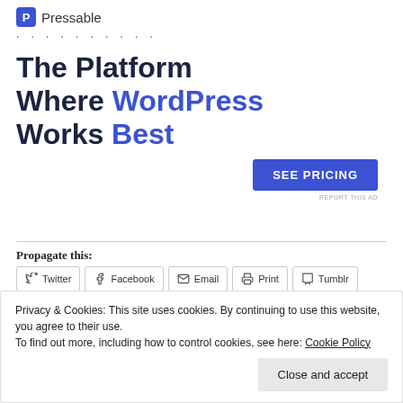[Figure (logo): Pressable logo with icon and text]
The Platform Where WordPress Works Best
SEE PRICING
REPORT THIS AD
Propagate this:
Twitter  Facebook  Email  Print  Tumblr
Privacy & Cookies: This site uses cookies. By continuing to use this website, you agree to their use.
To find out more, including how to control cookies, see here: Cookie Policy
Close and accept